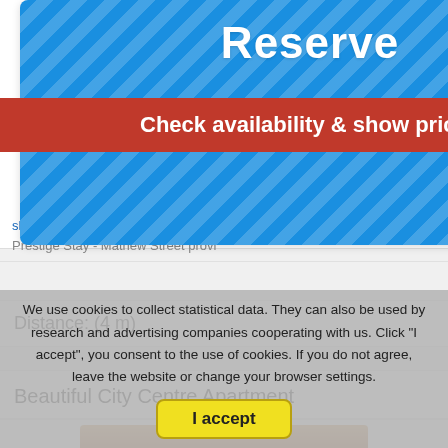[Figure (screenshot): Blue striped Reserve box with 'Reserve' title in white and a red 'Check availability & show prices' button]
[Figure (photo): Small photo of a room/furniture in the top right]
show map Set in Liverpool, a few steps from The Cavern Quarter, Prestige Stay - Mathew Street provi
Distance: (4 m)
Beautiful City Centre Apartment
[Figure (photo): Partial photo of apartment interior]
We use cookies to collect statistical data. They can also be used by research and advertising companies cooperating with us. Click "I accept", you consent to the use of cookies. If you do not agree, leave the website or change your browser settings.
I accept